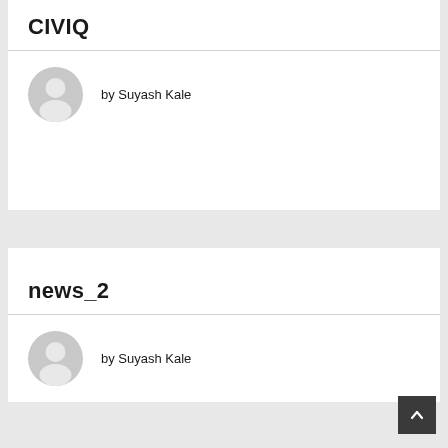CIVIQ
by Suyash Kale
news_2
by Suyash Kale